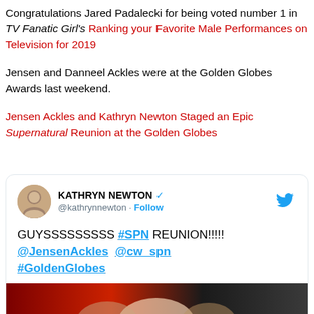Congratulations Jared Padalecki for being voted number 1 in TV Fanatic Girl's Ranking your Favorite Male Performances on Television for 2019
Jensen and Danneel Ackles were at the Golden Globes Awards last weekend.
Jensen Ackles and Kathryn Newton Staged an Epic Supernatural Reunion at the Golden Globes
[Figure (screenshot): Tweet from KATHRYN NEWTON (@kathrynnewton) with verified badge and Follow button. Tweet text: GUYSSSSSSSSS #SPN REUNION!!!!! @JensenAckles @cw_spn #GoldenGlobes. Followed by a partial photo.]